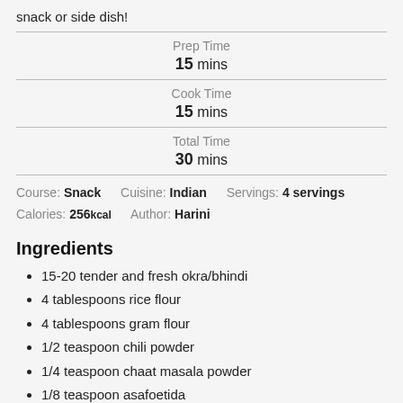snack or side dish!
| Prep Time | 15 mins |
| Cook Time | 15 mins |
| Total Time | 30 mins |
Course: Snack    Cuisine: Indian    Servings: 4 servings
Calories: 256kcal    Author: Harini
Ingredients
15-20 tender and fresh okra/bhindi
4 tablespoons rice flour
4 tablespoons gram flour
1/2 teaspoon chili powder
1/4 teaspoon chaat masala powder
1/8 teaspoon asafoetida
Salt